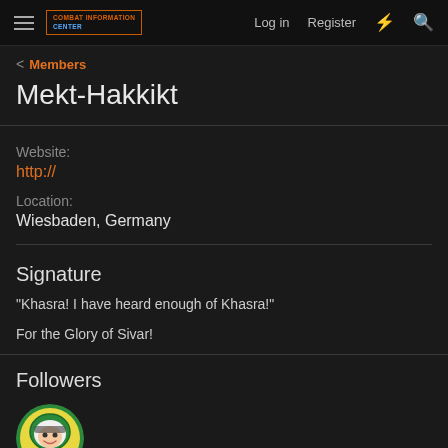Combat Information Center — Log in | Register
< Members
Mekt-Hakkikt
Website:
http://
Location:
Wiesbaden, Germany
Signature
"Khasra! I have heard enough of Khasra!"
For the Glory of Sivar!
Followers
[Figure (photo): Circular avatar of a follower user showing an illustrated character with helmet and purple outfit]